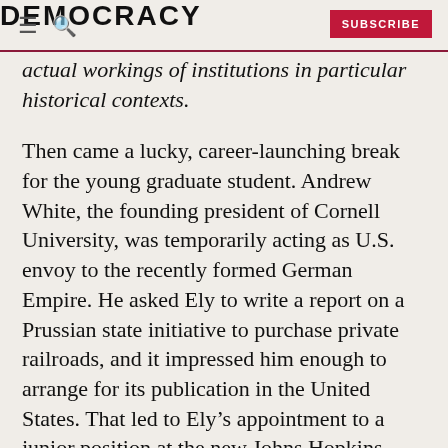DEMOCRACY | SUBSCRIBE
actual workings of institutions in particular historical contexts.
Then came a lucky, career-launching break for the young graduate student. Andrew White, the founding president of Cornell University, was temporarily acting as U.S. envoy to the recently formed German Empire. He asked Ely to write a report on a Prussian state initiative to purchase private railroads, and it impressed him enough to arrange for its publication in the United States. That led to Ely's appointment to a junior position at the new Johns Hopkins University after he returned home.